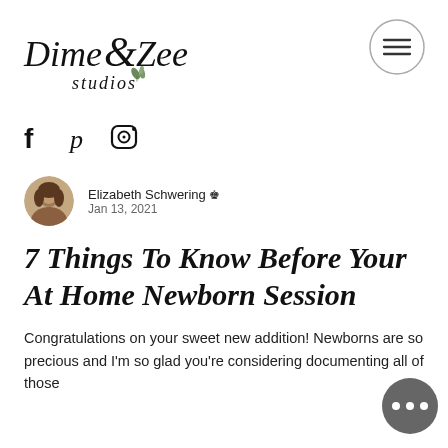[Figure (logo): Dime & Zee Studios logo with script/italic text and small leaf illustration]
[Figure (other): Hamburger menu icon inside a circle]
[Figure (other): Social media icons: Facebook (f), Pinterest (p), Instagram (camera)]
[Figure (photo): Circular avatar photo of Elizabeth Schwering]
Elizabeth Schwering 👑 Jan 13, 2021
7 Things To Know Before Your At Home Newborn Session
Congratulations on your sweet new addition! Newborns are so precious and I'm so glad you're considering documenting all of those